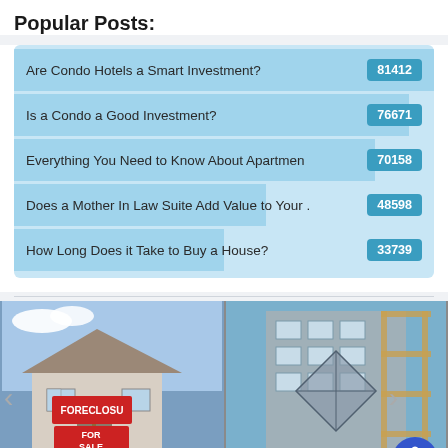Popular Posts:
Are Condo Hotels a Smart Investment? — 81412
Is a Condo a Good Investment? — 76671
Everything You Need to Know About Apartments — 70158
Does a Mother In Law Suite Add Value to Your . — 48598
How Long Does it Take to Buy a House? — 33739
[Figure (photo): Collage of two real estate photos: left shows a suburban house with a FORECLOSURE FOR SALE sign, right shows a construction building with scaffolding]